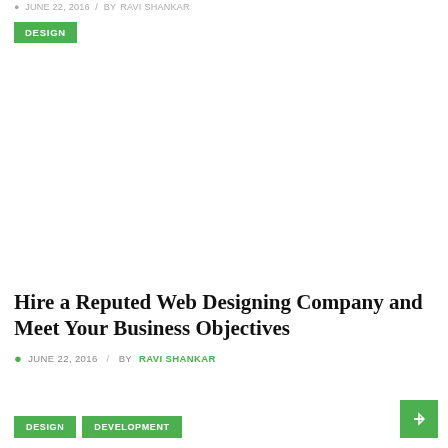JUNE 22, 2016  /  BY RAVI SHANKAR
DESIGN
Hire a Reputed Web Designing Company and Meet Your Business Objectives
JUNE 22, 2016  /  BY RAVI SHANKAR
DESIGN  DEVELOPMENT